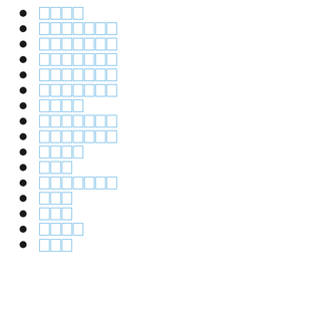████
███████
███████
███████
███████
███████
████
███████
███████
████
███
███████
███
███
████
███